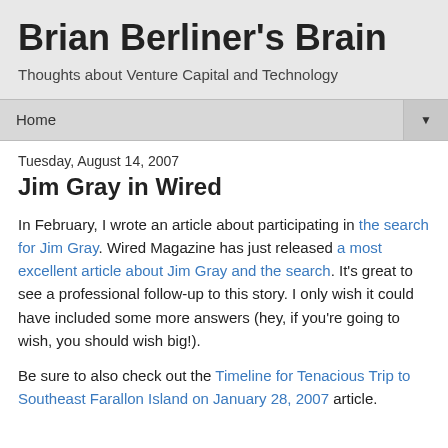Brian Berliner's Brain
Thoughts about Venture Capital and Technology
Home ▼
Tuesday, August 14, 2007
Jim Gray in Wired
In February, I wrote an article about participating in the search for Jim Gray. Wired Magazine has just released a most excellent article about Jim Gray and the search. It's great to see a professional follow-up to this story. I only wish it could have included some more answers (hey, if you're going to wish, you should wish big!).
Be sure to also check out the Timeline for Tenacious Trip to Southeast Farallon Island on January 28, 2007 article.